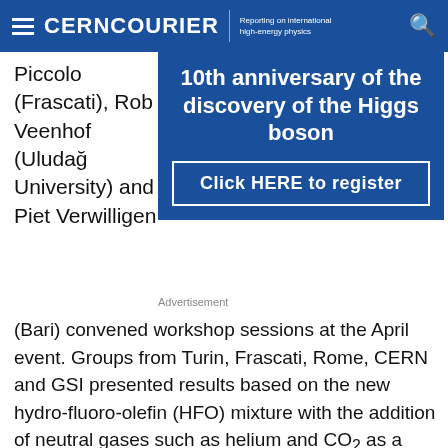CERNCOURIER Reporting on international high-energy physics
Piccolo (Frascati), Rob Veenhof (Uludağ University) and Piet Verwilligen
[Figure (other): Advertisement banner for 10th anniversary of the discovery of the Higgs boson with Click HERE to register button]
Advertisement
(Bari) convened workshop sessions at the April event. Groups from Turin, Frascati, Rome, CERN and GSI presented results based on the new hydro-fluoro-olefin (HFO) mixture with the addition of neutral gases such as helium and CO₂ as a way of lowering the high working-point voltage. Despite challenges related to the larger signal charge and streamer probability, encouraging